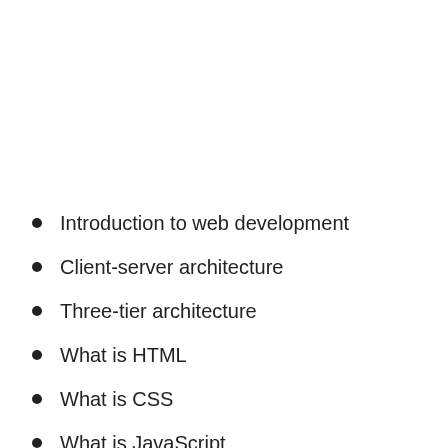Introduction to web development
Client-server architecture
Three-tier architecture
What is HTML
What is CSS
What is JavaScript